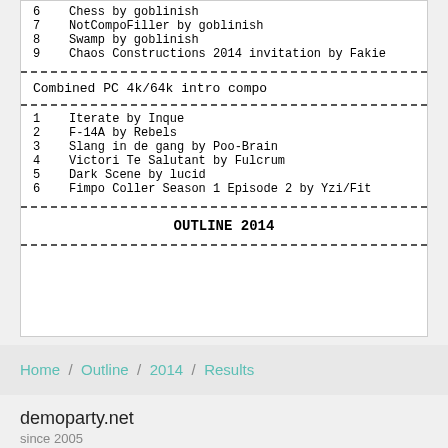6   Chess by goblinish
7   NotCompoFiller by goblinish
8   Swamp by goblinish
9   Chaos Constructions 2014 invitation by Fakie
Combined PC 4k/64k intro compo
1   Iterate by Inque
2   F-14A by Rebels
3   Slang in de gang by Poo-Brain
4   Victori Te Salutant by Fulcrum
5   Dark Scene by lucid
6   Fimpo Coller Season 1 Episode 2 by Yzi/Fit
OUTLINE 2014
Home / Outline / 2014 / Results
demoparty.net
since 2005